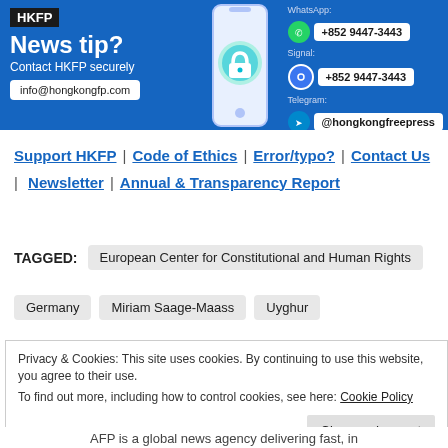[Figure (infographic): HKFP News tip banner in blue showing contact details: WhatsApp +852 9447-3443, Signal +852 9447-3443, Telegram @hongkongfreepress, email info@hongkongfp.com. Features a phone image with lock icon.]
Support HKFP | Code of Ethics | Error/typo? | Contact Us | Newsletter | Annual & Transparency Report
TAGGED: European Center for Constitutional and Human Rights
Germany   Miriam Saage-Maass   Uyghur
Privacy & Cookies: This site uses cookies. By continuing to use this website, you agree to their use.
To find out more, including how to control cookies, see here: Cookie Policy
Close and accept
AFP is a global news agency delivering fast, in